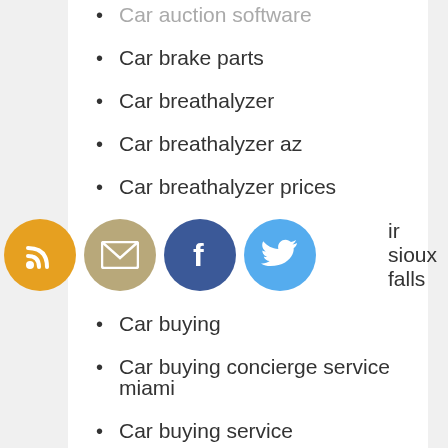Car auction software
Car brake parts
Car breathalyzer
Car breathalyzer az
Car breathalyzer prices
Car breathalyzer repair sioux falls
Car buying
Car buying concierge service miami
Car buying service
Car buying tips
Car care services
Car carriers